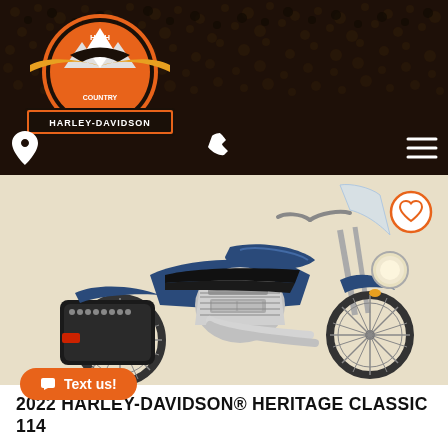[Figure (logo): High Country Harley-Davidson logo with mountain emblem and wings on dark leather-textured background]
[Figure (photo): 2022 Harley-Davidson Heritage Classic 114 motorcycle in blue and black colorway, side profile view, on beige background]
2022 HARLEY-DAVIDSON® HERITAGE CLASSIC 114